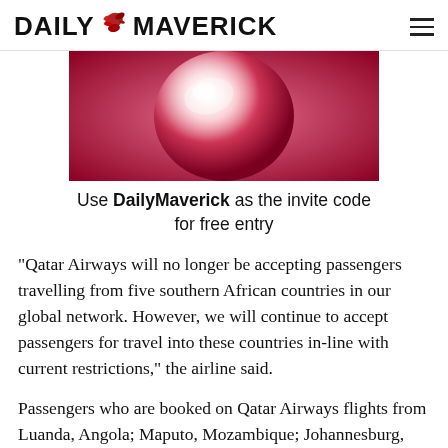DAILY MAVERICK
[Figure (illustration): Red and white abstract glossy globe/sphere illustration used as an advertisement image]
Use DailyMaverick as the invite code for free entry
“Qatar Airways will no longer be accepting passengers travelling from five southern African countries in our global network. However, we will continue to accept passengers for travel into these countries in-line with current restrictions,” the airline said.
Passengers who are booked on Qatar Airways flights from Luanda, Angola; Maputo, Mozambique; Johannesburg, Cape Town and Durban, South Africa; Lusaka, Zambia and